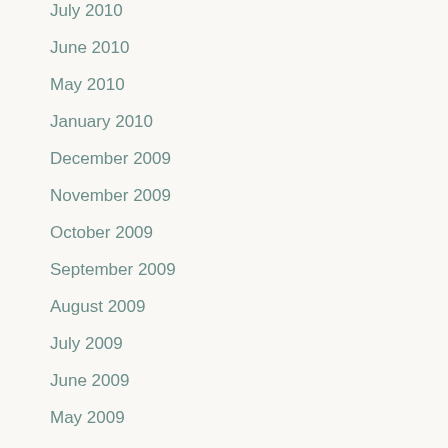July 2010
June 2010
May 2010
January 2010
December 2009
November 2009
October 2009
September 2009
August 2009
July 2009
June 2009
May 2009
April 2009
March 2009
February 2009
January 2009
December 2008